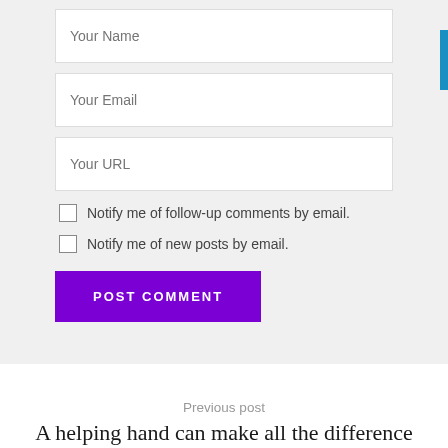Your Name
Your Email
Your URL
Notify me of follow-up comments by email.
Notify me of new posts by email.
POST COMMENT
Previous post
A helping hand can make all the difference when job hunting.